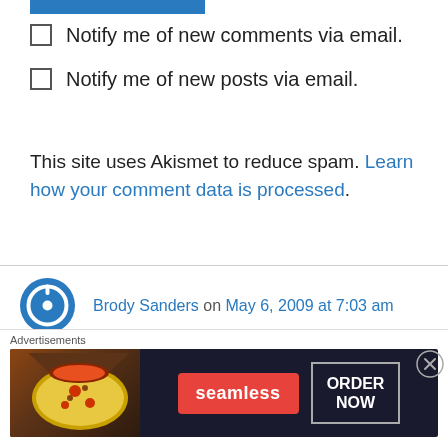Notify me of new comments via email.
Notify me of new posts via email.
This site uses Akismet to reduce spam. Learn how your comment data is processed.
Brody Sanders on May 6, 2009 at 7:03 am
Rashid,

If you want to add Facebook or email sharing buttons to your blog posts, there's a plugin that
[Figure (infographic): Seamless food delivery advertisement banner with pizza image, Seamless logo, and ORDER NOW button]